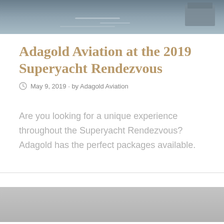[Figure (photo): Aerial or water-level photo of yachts on water, showing ocean/sea surface with light reflections, partially cropped at top of page]
Adagold Aviation at the 2019 Superyacht Rendezvous
May 9, 2019 · by Adagold Aviation
Are you looking for a unique experience throughout the Superyacht Rendezvous? Adagold has the perfect packages available.
[Figure (photo): Bottom partial photo, gray/silver colored, appears to be another yacht or water scene, cropped]